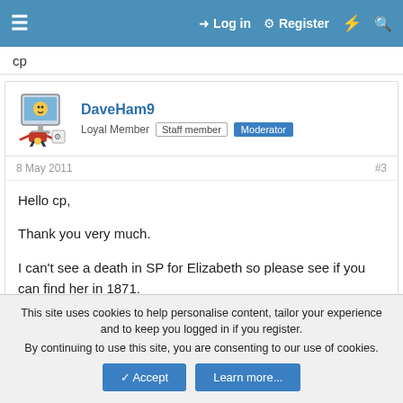≡  Log in  Register  ⚡  🔍
cp
DaveHam9
Loyal Member  Staff member  Moderator
8 May 2011  #3
Hello cp,

Thank you very much.

I can't see a death in SP for Elizabeth so please see if you can find her in 1871.

Thanks
This site uses cookies to help personalise content, tailor your experience and to keep you logged in if you register.
By continuing to use this site, you are consenting to our use of cookies.
Accept  Learn more...